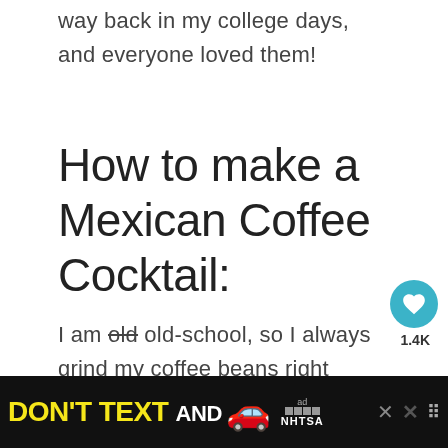way back in my college days, and everyone loved them!
How to make a Mexican Coffee Cocktail:
I am old old-school, so I always grind my coffee beans right before I am ready to brew my coffee. ☺
While your coffee is brewing, measure 1 oz of coffee liqueur and 1/2 oz of te...
[Figure (other): Advertisement banner: DON'T TEXT AND [car emoji] with ad badge and NHTSA logo on black background, with close/dismiss buttons]